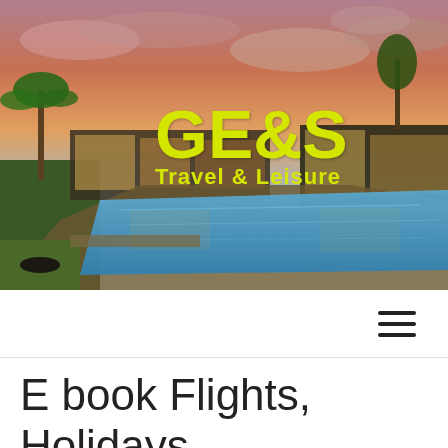[Figure (photo): Hero banner photograph of a luxury resort with a large infinity pool under a dramatic sunset sky with orange and purple clouds. Palm trees and a modern glass building are visible in the background.]
GE&S
Travel & Leisure
[Figure (other): Hamburger menu icon (three horizontal lines) on the navigation bar.]
E book Flights, Holidays & Verify In Online